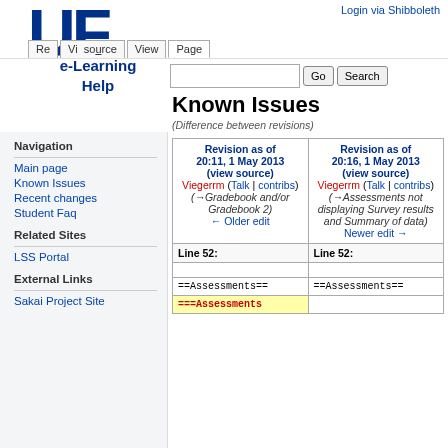Login via Shibboleth
[Figure (logo): University of Florida UF logo in blue]
Re  Vi  source  View  Page
e-Learning Help
Known Issues
(Difference between revisions)
Navigation
Main page
Known Issues
Recent changes
Student Faq
Related Sites
LSS Portal
External Links
Sakai Project Site
| Revision as of 20:11, 1 May 2013 (view source) | Revision as of 20:16, 1 May 2013 (view source) |
| --- | --- |
| Viegerrm (Talk | contribs)
(→Gradebook and/or Gradebook 2)
← Older edit | Viegerrm (Talk | contribs)
(→Assessments not displaying Survey results and Summary of data)
Newer edit → |
| Line 52: | Line 52: |
|  |  |
| ==Assessments== | ==Assessments== |
| ===Assessments |  |